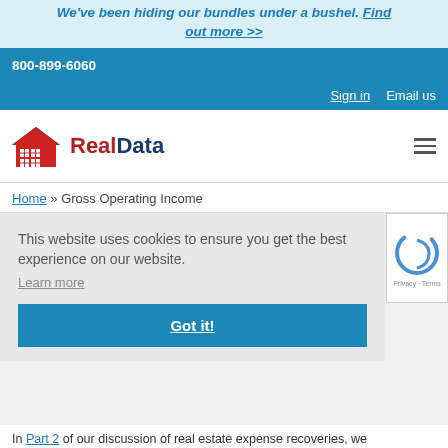We've been hiding our bundles under a bushel. Find out more >>
800-899-6060  Sign in  Email us
[Figure (logo): RealData logo with red house icon and RealData text in red and dark blue]
Home » Gross Operating Income
This website uses cookies to ensure you get the best experience on our website. Learn more
Got it!
In Part 2 of our discussion of real estate expense recoveries, we